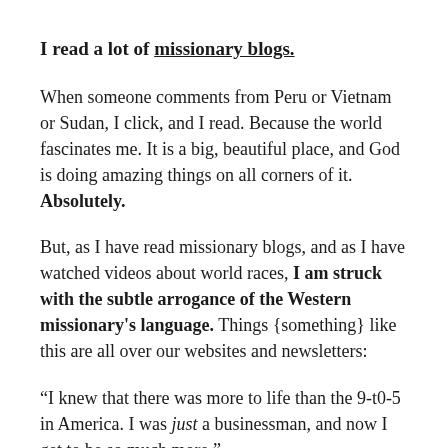I read a lot of missionary blogs.
When someone comments from Peru or Vietnam or Sudan, I click, and I read. Because the world fascinates me. It is a big, beautiful place, and God is doing amazing things on all corners of it. Absolutely.
But, as I have read missionary blogs, and as I have watched videos about world races, I am struck with the subtle arrogance of the Western missionary's language. Things {something} like this are all over our websites and newsletters:
“I knew that there was more to life than the 9-t0-5 in America. I was just a businessman, and now I get to be so much more.”